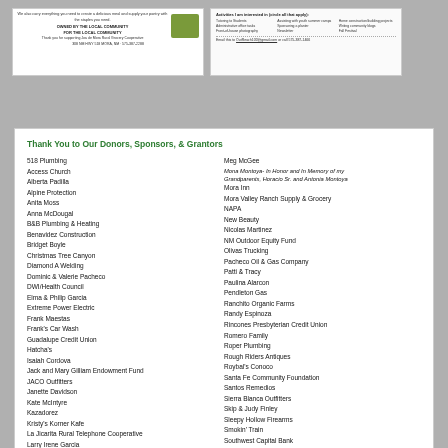[Figure (other): Advertisement card for a local grocery cooperative with text about carrying everything needed to create a delicious meal and stocking pantries. Owned by the local community for the local community. Address: 308 NM HWY 518 MORA, NM. Phone: 575-387-2288]
[Figure (other): Volunteer/community involvement card listing activities: tutoring students, administrative office tasks, front-of-house photography, assisting with youth summer camps, sponsoring a planter, newsletter, home construction/building projects, writing community blogs, fall festival. Email and phone contact info at bottom.]
Thank You to Our Donors, Sponsors, & Grantors
518 Plumbing
Access Church
Alberta Padilla
Alpine Protection
Anita Moss
Anna McDougal
B&B Plumbing & Heating
Benavidez Construction
Bridget Boyle
Christmas Tree Canyon
Diamond A Welding
Dominic & Valerie Pacheco
DWI/Health Council
Elma & Philip Garcia
Extreme Power Electric
Frank Maestas
Frank's Car Wash
Guadalupe Credit Union
Hatcha's
Isaiah Cordova
Jack and Mary Gilliam Endowment Fund
JACO Outfitters
Janette Davidson
Kate McIntyre
Kazadorez
Kristy's Korner Kafe
La Jicarita Rural Telephone Cooperative
Larry Irene Garcia
Las Vegas New Mexico Community Foundation
LJ Pacheco Automotive
LJ Pacheco Trucking
Meg McGee
Mona Montoya- In Honor and In Memory of my Grandparents, Horacio Sr. and Antonia Montoya
Mora Inn
Mora Valley Ranch Supply & Grocery
NAPA
New Beauty
Nicolas Martinez
NM Outdoor Equity Fund
Olivas Trucking
Pacheco Oil & Gas Company
Patti & Tracy
Paulina Alarcon
Pendleton Gas
Ranchito Organic Farms
Randy Espinoza
Rincones Presbyterian Credit Union
Romero Family
Roper Plumbing
Rough Riders Antiques
Roybal's Conoco
Santa Fe Community Foundation
Santos Remedios
Sierra Blanca Outfitters
Skip & Judy Finley
Sleepy Hollow Firearms
Smokin' Train
Southwest Capital Bank
Southwest Capital Bank
Stella Romero
Sue Strebe Real Estate
Tamara Carroll
The Luceros- In Memory of Aaron Lucero